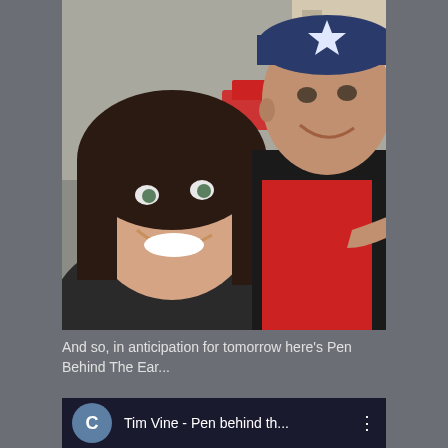[Figure (photo): Selfie photo of two people outdoors on a street. A woman with dark shoulder-length hair on the left is smiling broadly. A man on the right wearing a Captain America baseball cap, red shirt, and black blazer is smiling and pointing at the woman. Street and buildings visible in background.]
And so, in anticipation for tomorrow here's Pen Behind The Ear...
[Figure (screenshot): Video thumbnail showing a YouTube/video player interface with a circular avatar showing letter C, and title text reading 'Tim Vine - Pen behind th...' with a three-dot menu icon on the right.]